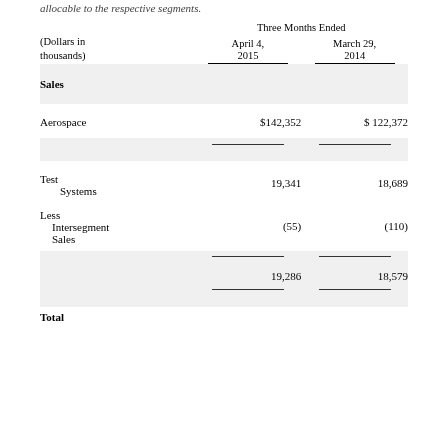allocable to the respective segments.
| (Dollars in thousands) | Three Months Ended April 4, 2015 | Three Months Ended March 29, 2014 |
| --- | --- | --- |
| Sales |  |  |
| Aerospace | $142,352 | $ 122,372 |
| Test Systems | 19,341 | 18,689 |
| Less Intersegment Sales | (55) | (110) |
|  | 19,286 | 18,579 |
| Total |  |  |